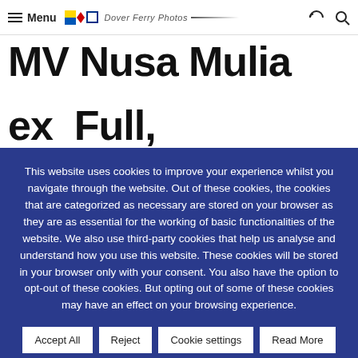Menu | Dover Ferry Photos
MV Nusa Mulia
ex Full, Fuldatal, Norcove,
This website uses cookies to improve your experience whilst you navigate through the website. Out of these cookies, the cookies that are categorized as necessary are stored on your browser as they are as essential for the working of basic functionalities of the website. We also use third-party cookies that help us analyse and understand how you use this website. These cookies will be stored in your browser only with your consent. You also have the option to opt-out of these cookies. But opting out of some of these cookies may have an effect on your browsing experience.
Accept All
Reject
Cookie settings
Read More